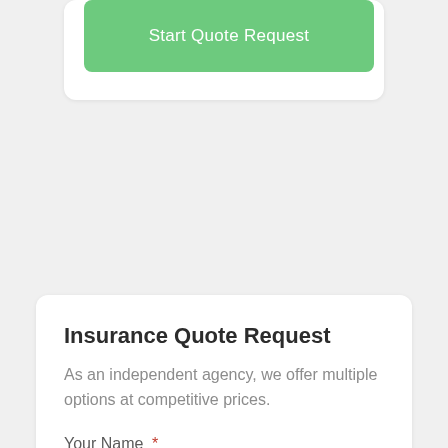Start Quote Request
Insurance Quote Request
As an independent agency, we offer multiple options at competitive prices.
Your Name *